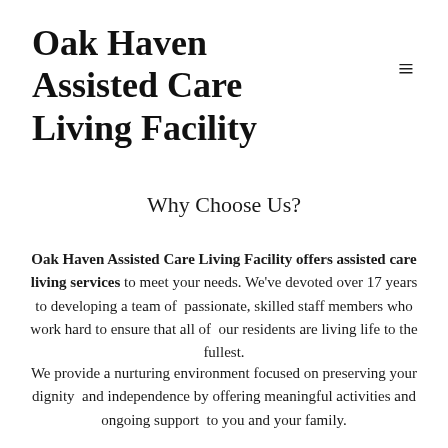Oak Haven Assisted Care Living Facility
Why Choose Us?
Oak Haven Assisted Care Living Facility offers assisted care living services to meet your needs. We've devoted over 17 years to developing a team of passionate, skilled staff members who work hard to ensure that all of our residents are living life to the fullest.
We provide a nurturing environment focused on preserving your dignity and independence by offering meaningful activities and ongoing support to you and your family.